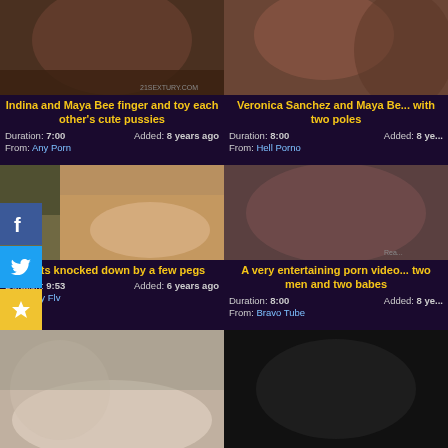[Figure (screenshot): Video thumbnail top-left]
Indina and Maya Bee finger and toy each other's cute pussies
Duration: 7:00  Added: 8 years ago  From: Any Porn
[Figure (screenshot): Video thumbnail top-right]
Veronica Sanchez and Maya Be... with two poles
Duration: 8:00  Added: 8 ye...  From: Hell Porno
[Figure (screenshot): Video thumbnail middle-left with social share icons overlay (Facebook, Twitter, Star, Plus)]
...gets knocked down by a few pegs
Duration: 9:53  Added: 6 years ago  From: Fly Flv
[Figure (screenshot): Video thumbnail middle-right]
A very entertaining porn video... two men and two babes
Duration: 8:00  Added: 8 ye...  From: Bravo Tube
[Figure (screenshot): Video thumbnail bottom-left]
[Figure (screenshot): Video thumbnail bottom-right (dark)]